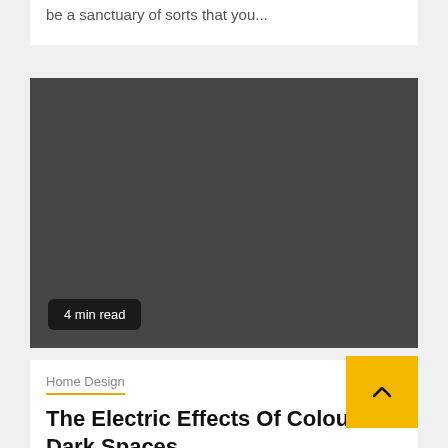be a sanctuary of sorts that you...
[Figure (photo): Dark gray placeholder image with a '4 min read' badge in the bottom left corner]
4 min read
Home Design
The Electric Effects Of Colour In Dark Spaces